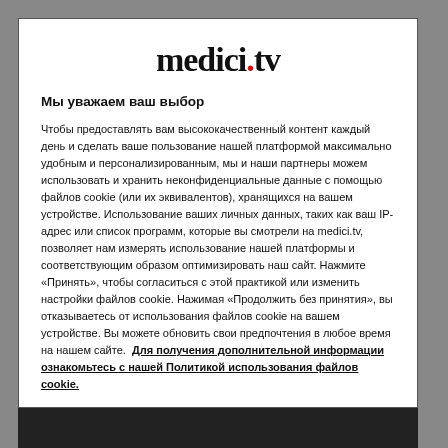[Figure (logo): medici.tv logo in bold serif font with red dot before 'tv']
Мы уважаем ваш выбор
Чтобы предоставлять вам высококачественный контент каждый день и сделать ваше пользование нашей платформой максимально удобным и персонализированным, мы и наши партнеры можем использовать и хранить неконфиденциальные данные с помощью файлов cookie (или их эквивалентов), хранящихся на вашем устройстве. Использование ваших личных данных, таких как ваш IP-адрес или список программ, которые вы смотрели на medici.tv, позволяет нам измерять использование нашей платформы и соответствующим образом оптимизировать наш сайт. Нажмите «Принять», чтобы согласиться с этой практикой или изменить настройки файлов cookie. Нажимая «Продолжить без принятия», вы отказываетесь от использования файлов cookie на вашем устройстве. Вы можете обновить свои предпочтения в любое время на нашем сайте.  Для получения дополнительной информации ознакомьтесь с нашей Политикой использования файлов cookie.